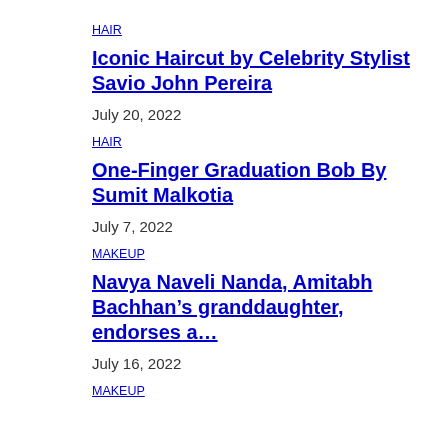HAIR
Iconic Haircut by Celebrity Stylist Savio John Pereira
July 20, 2022
HAIR
One-Finger Graduation Bob By Sumit Malkotia
July 7, 2022
MAKEUP
Navya Naveli Nanda, Amitabh Bachhan’s granddaughter, endorses a…
July 16, 2022
MAKEUP